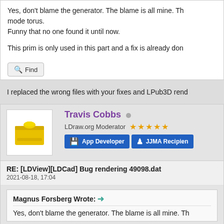Yes, don't blame the generator. The blame is all mine. Th... mode torus.
Funny that no one found it until now.

This prim is only used in this part and a fix is already don...
I replaced the wrong files with your fixes and LPub3D rend...
Find
Travis Cobbs
LDraw.org Moderator ★★★★★
App Developer   JJMA Recipien...
RE: [LDView][LDCad] Bug rendering 49098.dat
2021-08-18, 17:04
Magnus Forsberg Wrote: →
Yes, don't blame the generator. The blame is all mine. Th...